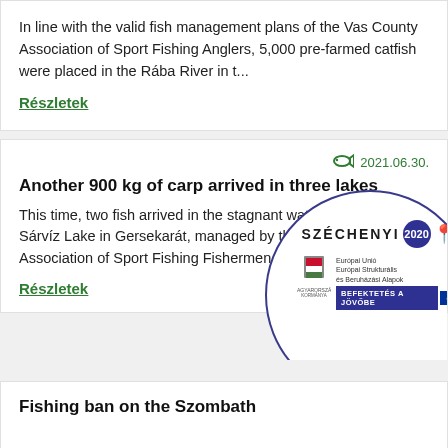In line with the valid fish management plans of the Vas County Association of Sport Fishing Anglers, 5,000 pre-farmed catfish were placed in the Rába River in t...
Részletek
2021.06.30.
Another 900 kg of carp arrived in three lakes
This time, two fish arrived in the stagnant water of Zala and the Sárvíz Lake in Gersekarát, managed by the Vas County Association of Sport Fishing Fishermen, w...
Részletek
[Figure (logo): Széchenyi 2020 logo with Hungarian government coat of arms, EU structural funds text, and BEFEKTETÉS A JÖVŐBE tagline, overlaid on a circular blue border]
Fishing ban on the Szombath